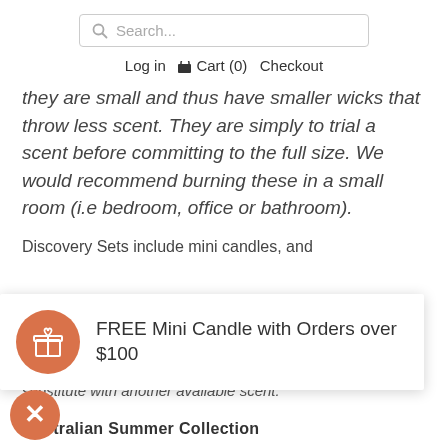[Figure (screenshot): Search bar with magnifier icon and placeholder text 'Search...']
Log in  Cart (0)  Checkout
they are small and thus have smaller wicks that throw less scent. They are simply to trial a scent before committing to the full size. We would recommend burning these in a small room (i.e bedroom, office or bathroom).
Discovery Sets include mini candles, and
[Figure (infographic): Popup banner with orange circle gift icon and text: FREE Mini Candle with Orders over $100]
substitute with another available scent.
[Figure (infographic): Orange close button with X symbol]
Australian Summer Collection